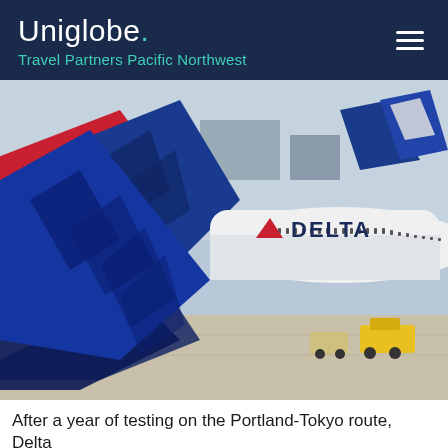Uniglobe. Travel Partners Pacific Northwest
[Figure (photo): Delta Air Lines aircraft tails and fuselage at an airport tarmac. Red and blue Delta tail fins visible in foreground, white fuselage with 'DELTA' lettering and red triangle logo in background. Ground equipment visible at lower right.]
After a year of testing on the Portland-Tokyo route, Delta